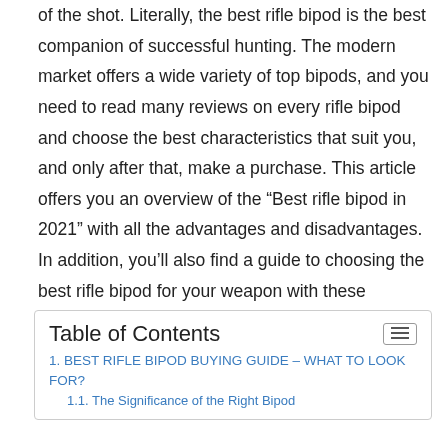of the shot. Literally, the best rifle bipod is the best companion of successful hunting. The modern market offers a wide variety of top bipods, and you need to read many reviews on every rifle bipod and choose the best characteristics that suit you, and only after that, make a purchase. This article offers you an overview of the “Best rifle bipod in 2021” with all the advantages and disadvantages. In addition, you’ll also find a guide to choosing the best rifle bipod for your weapon with these characteristics.
| Table of Contents |
| --- |
| 1. BEST RIFLE BIPOD BUYING GUIDE – WHAT TO LOOK FOR? |
| 1.1. The Significance of the Right Bipod |